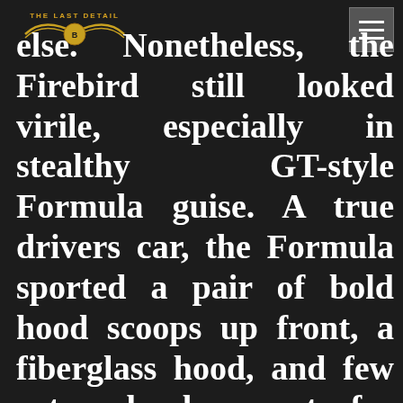THE LAST DETAIL (logo)
else. Nonetheless, the Firebird still looked virile, especially in stealthy GT-style Formula guise. A true drivers car, the Formula sported a pair of bold hood scoops up front, a fiberglass hood, and few external adornments for a particularly clean look in contrast to the racy Trans Am variant. The V-8 engine choices and available transmissions continued to provide strong, albeit somewhat milder, performance than before. Other standard Formula equipment included hubcaps (Honeycomb and Rally II wheels